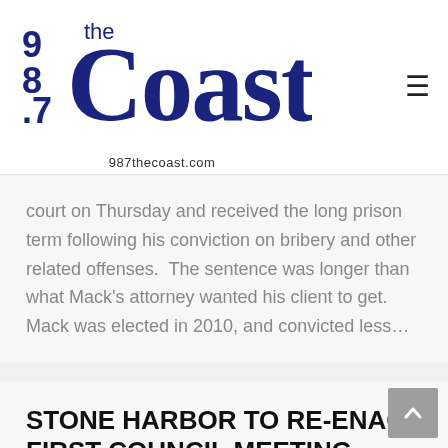[Figure (logo): 98.7 The Coast radio station logo with text '987thecoast.com']
court on Thursday and received the long prison term following his conviction on bribery and other related offenses.  The sentence was longer than what Mack's attorney wanted his client to get.  Mack was elected in 2010, and convicted less…
STONE HARBOR TO RE-ENACT FIRST COUNCIL MEETING FRIDAY
Local News, Stone Harbor • By 98.7 The Coast WCZT • May 15, 2014
Stone Harbor officials will re-enact the Borough's first… Council meeting, held 100…